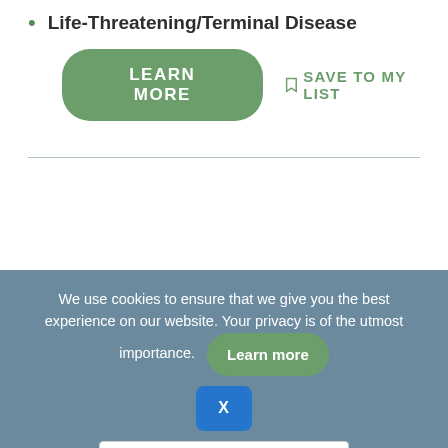Life-Threatening/Terminal Disease
LEARN MORE
SAVE TO MY LIST
We use cookies to ensure that we give you the best experience on our website. Your privacy is of the utmost importance.
Learn more
X
English